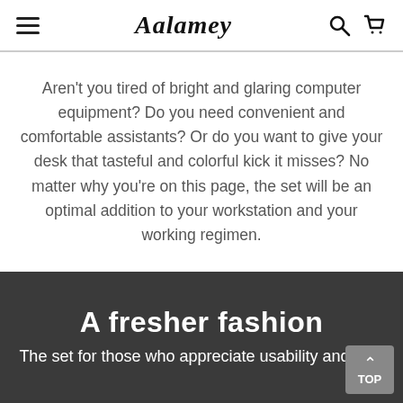Aalamey
Aren't you tired of bright and glaring computer equipment? Do you need convenient and comfortable assistants? Or do you want to give your desk that tasteful and colorful kick it misses? No matter why you're on this page, the set will be an optimal addition to your workstation and your working regimen.
A fresher fashion
The set for those who appreciate usability and look